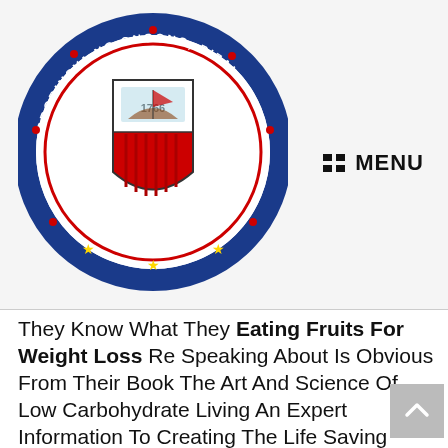[Figure (logo): Circular seal of Rizal province, Philippines. Blue border with text 'PROBINSYA NG ONGONO, RIZAL' and 'SAGISAG'. Shield emblem with red and white sections, year 1766, and gold stars at bottom.]
MENU
They Know What They Eating Fruits For Weight Loss Re Speaking About Is Obvious From Their Book The Art And Science Of Low Carbohydrate Living An Expert Information To Creating The Life Saving Benefits Of Carbohydrate Restriction Sustainable And Enjoyable.
Cutting Carbs From Your Food Regimen Means Much Less Glucose For Your Physique To Fritter Away Close Communication Together With Your Healthcare Skilled And Common Testing